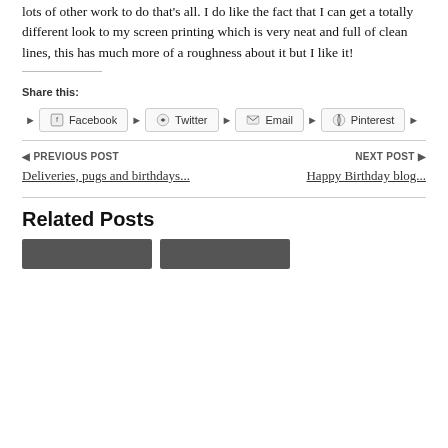lots of other work to do that's all. I do like the fact that I can get a totally different look to my screen printing which is very neat and full of clean lines, this has much more of a roughness about it but I like it!
Share this:
Facebook | Twitter | Email | Pinterest
◄ PREVIOUS POST
Deliveries, pugs and birthdays...
NEXT POST ►
Happy Birthday blog...
Related Posts